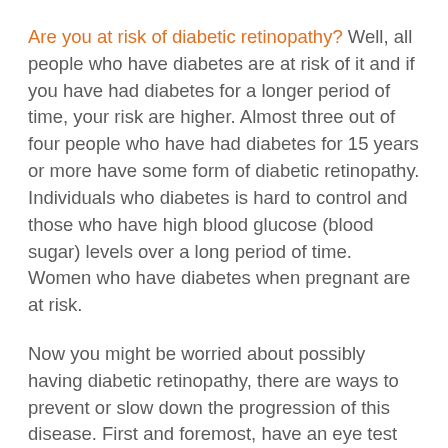Are you at risk of diabetic retinopathy? Well, all people who have diabetes are at risk of it and if you have had diabetes for a longer period of time, your risk are higher. Almost three out of four people who have had diabetes for 15 years or more have some form of diabetic retinopathy. Individuals who diabetes is hard to control and those who have high blood glucose (blood sugar) levels over a long period of time. Women who have diabetes when pregnant are at risk.
Now you might be worried about possibly having diabetic retinopathy, there are ways to prevent or slow down the progression of this disease. First and foremost, have an eye test done by an eye health practitioner like an optometrist or ophthalmologist. If diagnosed with diabetes, the eye test should include a check of the retina. Then, have a test